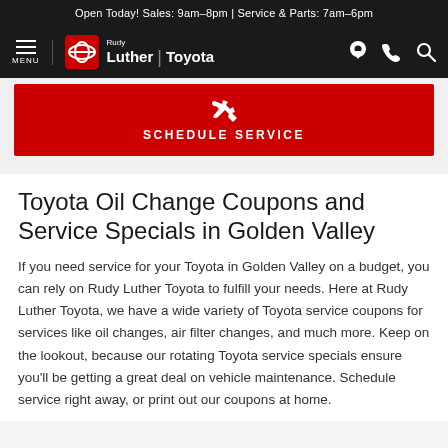Open Today! Sales: 9am–8pm | Service & Parts: 7am–6pm
[Figure (logo): Rudy Luther Toyota dealership navigation bar with menu icon, Toyota logo in red box, dealer name 'Rudy Luther | Toyota', and navigation icons (location, phone, search)]
[Figure (infographic): Red Schedule Service button with wrench icon and text 'SCHEDULE SERVICE']
Toyota Oil Change Coupons and Service Specials in Golden Valley
If you need service for your Toyota in Golden Valley on a budget, you can rely on Rudy Luther Toyota to fulfill your needs. Here at Rudy Luther Toyota, we have a wide variety of Toyota service coupons for services like oil changes, air filter changes, and much more. Keep on the lookout, because our rotating Toyota service specials ensure you'll be getting a great deal on vehicle maintenance. Schedule service right away, or print out our coupons at home.